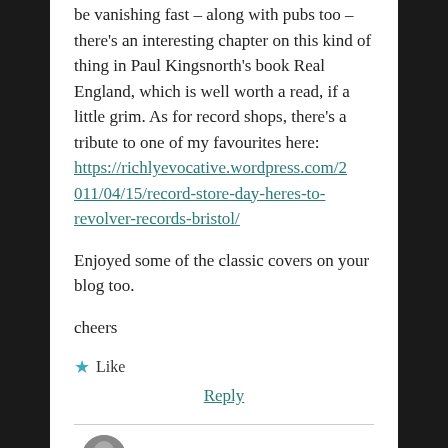be vanishing fast – along with pubs too – there's an interesting chapter on this kind of thing in Paul Kingsnorth's book Real England, which is well worth a read, if a little grim. As for record shops, there's a tribute to one of my favourites here: https://richlyevocative.wordpress.com/2011/04/15/record-store-day-heres-to-revolver-records-bristol/
Enjoyed some of the classic covers on your blog too.
cheers
★ Like
Reply